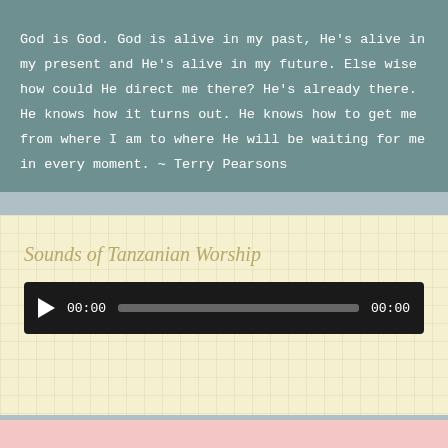God is God. God is alive in my past, He's alive in my present and He's alive in my future. Else wise how could He direct me there? He's already there. He knows how it turns out. He knows how to get me from where I am to where He will be waiting for me in every moment. ~ Terry Pearsons
Sounds of Tanzanian Worship
[Figure (other): Audio player widget with play button, time display showing 00:00, a progress bar, and end time 00:00, on a dark background]